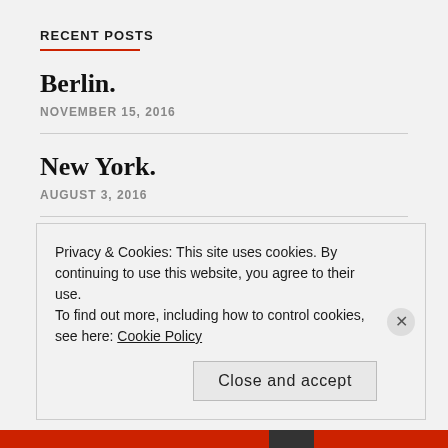RECENT POSTS
Berlin.
NOVEMBER 15, 2016
New York.
AUGUST 3, 2016
Tulum.
JUNE 23, 2016
Privacy & Cookies: This site uses cookies. By continuing to use this website, you agree to their use.
To find out more, including how to control cookies, see here: Cookie Policy
Close and accept